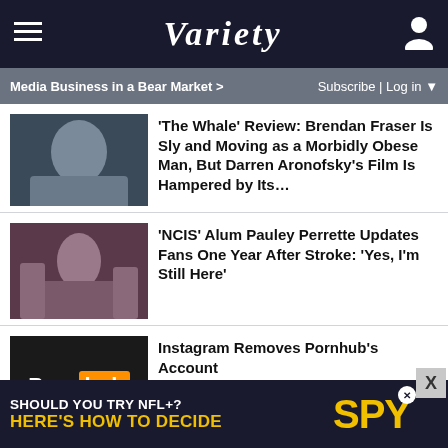Variety
Media Business in a Bear Market > | Subscribe | Log in
'The Whale' Review: Brendan Fraser Is Sly and Moving as a Morbidly Obese Man, But Darren Aronofsky's Film Is Hampered by Its…
[Figure (photo): Thumbnail image for The Whale article showing Brendan Fraser]
'NCIS' Alum Pauley Perrette Updates Fans One Year After Stroke: 'Yes, I'm Still Here'
[Figure (photo): Thumbnail image for NCIS article showing Pauley Perrette]
Instagram Removes Pornhub's Account
[Figure (logo): Pornhub logo on black background]
Olivia Wilde Dodges Question About Feud With 'Don't Worry Darling' Star Florence Pugh: 'The
[Figure (photo): Thumbnail image for Olivia Wilde article]
[Figure (infographic): Advertisement: Should You Try NFL+? Here's How to Decide — SPY]